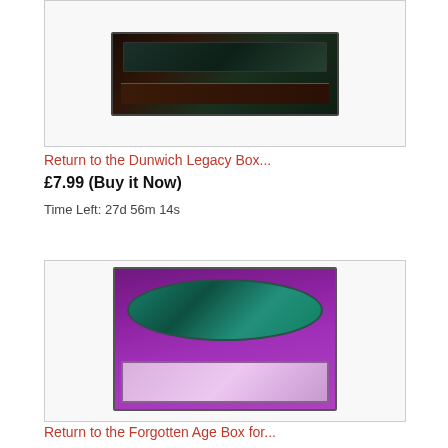[Figure (photo): Photo of Return to the Dunwich Legacy box set showing dark artwork with trees against a stormy sky]
Return to the Dunwich Legacy Box...
£7.99 (Buy it Now)
Time Left: 27d 56m 14s
[Figure (photo): Photo of Return to the Forgotten Age box set showing teal/purple decorative box with lid open]
Return to the Forgotten Age Box for...
£7.99 (Buy it Now)